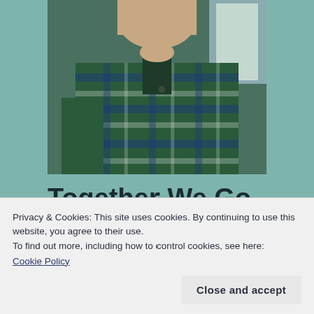[Figure (photo): Photo of a man wearing a green and blue plaid flannel shirt, cropped to show chin/neck and upper body. Background shows greenery.]
Together We Go
[Figure (photo): Dark image showing a faint orange glow near the bottom center, mostly black background suggesting a night scene or sunset.]
Privacy & Cookies: This site uses cookies. By continuing to use this website, you agree to their use.
To find out more, including how to control cookies, see here:
Cookie Policy
Close and accept